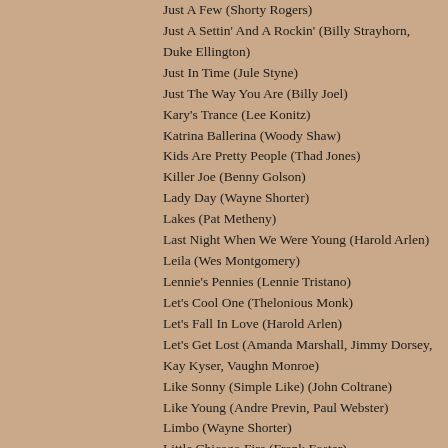Just A Few (Shorty Rogers)
Just A Settin' And A Rockin' (Billy Strayhorn, Duke Ellington)
Just In Time (Jule Styne)
Just The Way You Are (Billy Joel)
Kary's Trance (Lee Konitz)
Katrina Ballerina (Woody Shaw)
Kids Are Pretty People (Thad Jones)
Killer Joe (Benny Golson)
Lady Day (Wayne Shorter)
Lakes (Pat Metheny)
Last Night When We Were Young (Harold Arlen)
Leila (Wes Montgomery)
Lennie's Pennies (Lennie Tristano)
Let's Cool One (Thelonious Monk)
Let's Fall In Love (Harold Arlen)
Let's Get Lost (Amanda Marshall, Jimmy Dorsey, Kay Kyser, Vaughn Monroe)
Like Sonny (Simple Like) (John Coltrane)
Like Young (Andre Previn, Paul Webster)
Limbo (Wayne Shorter)
Little Chicago Fire (Frank Foster)
Little Rootie Tootie (Thelonious Monk)
Little Sunflower (Freddie Hubbard)
Locomotion (John Coltrane)
Lone Jack (Pat Metheny)
Lonely Dreams (Terry Gibbs)
Look For The Silver Lining